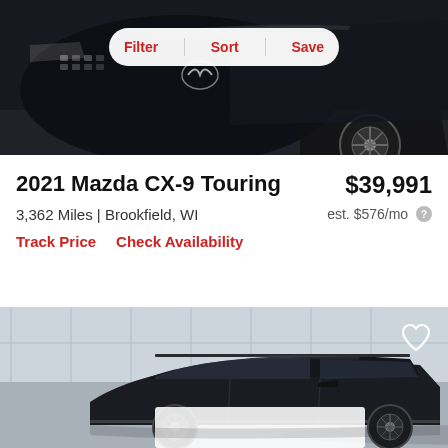[Figure (photo): Close-up front view of a black Mazda CX-9 SUV in a dealership showroom, with a Filter/Sort/Save pill button overlay at the top]
2021 Mazda CX-9 Touring
$39,991
3,362 Miles | Brookfield, WI
est. $576/mo
Track Price
Check Availability
[Figure (photo): Side/rear quarter view of a dark-colored Mazda SUV in a showroom parking lot, with a heart/save icon in top-right corner and a white overlay strip near bottom]